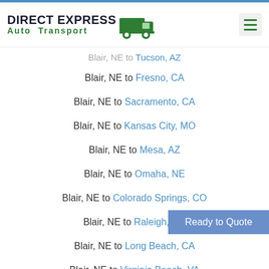Direct Express Auto Transport
Blair, NE to Tucson, AZ
Blair, NE to Fresno, CA
Blair, NE to Sacramento, CA
Blair, NE to Kansas City, MO
Blair, NE to Mesa, AZ
Blair, NE to Omaha, NE
Blair, NE to Colorado Springs, CO
Blair, NE to Raleigh, NC
Blair, NE to Long Beach, CA
Blair, NE to Virginia Beach, VA